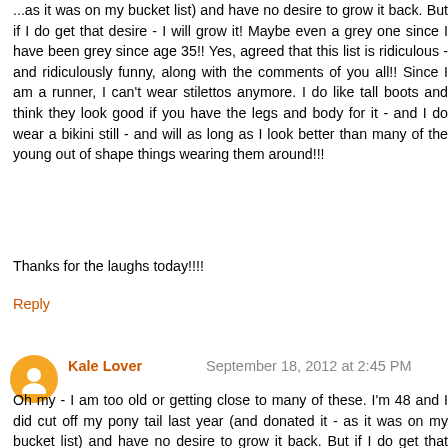...as it was on my bucket list) and have no desire to grow it back. But if I do get that desire - I will grow it! Maybe even a grey one since I have been grey since age 35!! Yes, agreed that this list is ridiculous - and ridiculously funny, along with the comments of you all!! Since I am a runner, I can't wear stilettos anymore. I do like tall boots and think they look good if you have the legs and body for it - and I do wear a bikini still - and will as long as I look better than many of the young out of shape things wearing them around!!!
Thanks for the laughs today!!!!
Reply
Kale Lover  September 18, 2012 at 2:45 PM
Oh my - I am too old or getting close to many of these. I'm 48 and I did cut off my pony tail last year (and donated it - as it was on my bucket list) and have no desire to grow it back. But if I do get that desire - I will grow it! Maybe even a grey one since I have been grey since age 35!! Yes, agreed that this list is ridiculous - and ridiculously funny, along with